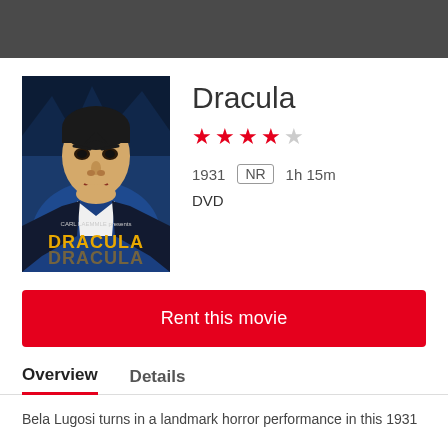[Figure (illustration): Dracula 1931 movie poster showing Bela Lugosi as Dracula with menacing expression, dark blue tones, with 'Carl Laemmle presents DRACULA' text on poster]
Dracula
★★★★☆ (4 out of 5 stars rating)
1931  NR  1h 15m
DVD
Rent this movie
Overview
Details
Bela Lugosi turns in a landmark horror performance in this 1931